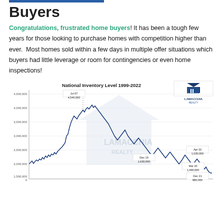Buyers
Congratulations, frustrated home buyers! It has been a tough few years for those looking to purchase homes with competition higher than ever. Most homes sold within a few days in multiple offer situations which buyers had little leverage or room for contingencies or even home inspections!
[Figure (continuous-plot): Line chart showing national housing inventory level from 1999 to 2022. Peak at Jul 07 at 4,540,000. Notable points: Dec 19 at 1,630,000; Mar 20 at 1,490,000; Apr 22 at 1,030,000; Dec 21 at 880,000. Lamacchia Realty logo watermark.]